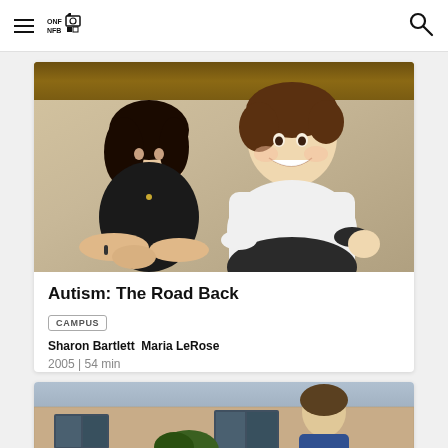NFB/ONF navigation bar with hamburger menu, logo, and search icon
[Figure (photo): Photograph of a woman and a young boy lying on sand, both smiling, looking under a wooden beam or log. The woman has dark hair and wears a black top. The boy wears a white shirt and dark pants.]
Autism: The Road Back
CAMPUS
Sharon Bartlett  Maria LeRose
2005 | 54 min
[Figure (photo): Partial photograph showing a person outdoors in front of a brick building with windows. The image is cut off at the bottom of the page.]